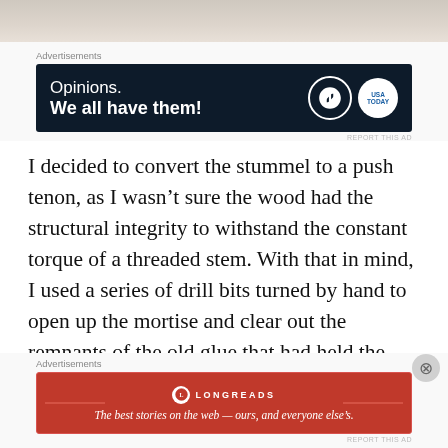[Figure (photo): Top portion of an image, appears to be light-colored fur or texture, cropped at top of page]
Advertisements
[Figure (screenshot): Dark navy advertisement banner: 'Opinions. We all have them!' with WordPress and USA Today logos]
REPORT THIS AD
I decided to convert the stummel to a push tenon, as I wasn't sure the wood had the structural integrity to withstand the constant torque of a threaded stem. With that in mind, I used a series of drill bits turned by hand to open up the mortise and clear out the remnants of the old glue that had held the reverse tenon in the shank. With that accomplished, I reamed the bowl clear, though to be honest any cake built up in there
Advertisements
[Figure (screenshot): Red Longreads advertisement banner: 'The best stories on the web — ours, and everyone else's.']
REPORT THIS AD